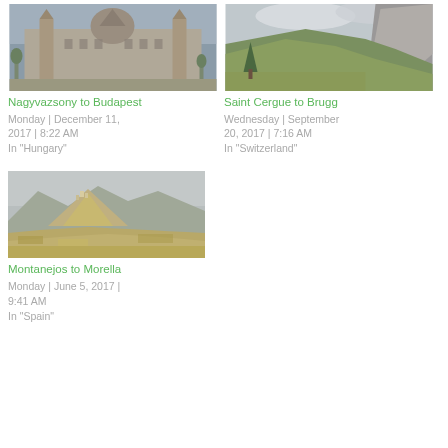[Figure (photo): Nagyvazsony to Budapest - Hungarian Parliament Building exterior, gray overcast sky]
Nagyvazsony to Budapest
Monday | December 11, 2017 | 8:22 AM
In "Hungary"
[Figure (photo): Saint Cergue to Brugg - Swiss mountain landscape, green hills with rocky cliff and clouds]
Saint Cergue to Brugg
Wednesday | September 20, 2017 | 7:16 AM
In "Switzerland"
[Figure (photo): Montanejos to Morella - Spanish rocky hilltop with village perched on ridge, dry landscape]
Montanejos to Morella
Monday | June 5, 2017 | 9:41 AM
In "Spain"